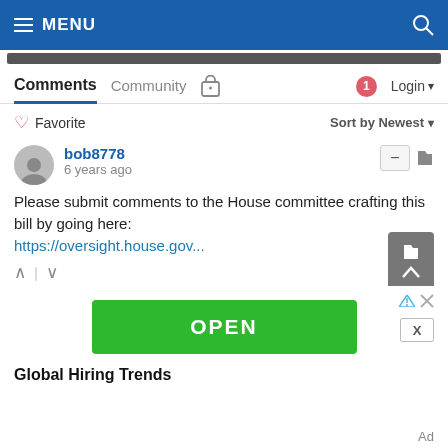MENU
Comments  Community  Login
♡ Favorite    Sort by Newest
bob8778
6 years ago
Please submit comments to the House committee crafting this bill by going here:
https://oversight.house.gov...
svv1186
6 years ago
There are advantages to enrolling in Part B Medicare
[Figure (screenshot): Ad overlay with green OPEN button and 'Global Hiring Trends' text]
Ad